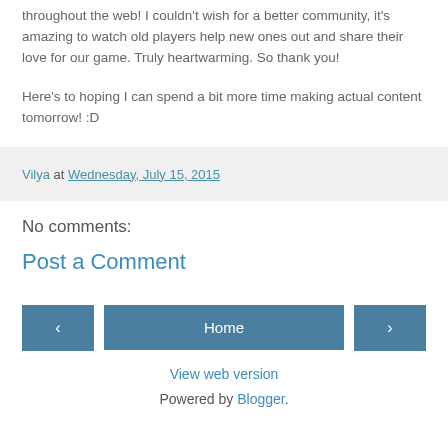throughout the web! I couldn't wish for a better community, it's amazing to watch old players help new ones out and share their love for our game. Truly heartwarming. So thank you!
Here's to hoping I can spend a bit more time making actual content tomorrow! :D
Vilya at Wednesday, July 15, 2015
No comments:
Post a Comment
Home
View web version
Powered by Blogger.